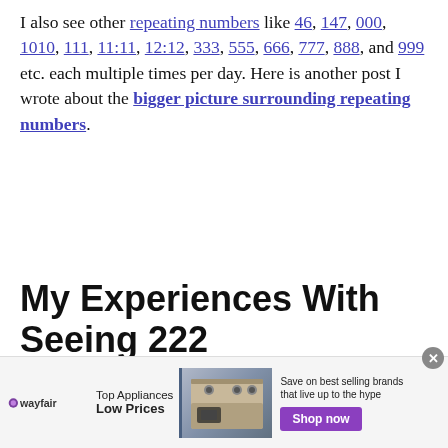I also see other repeating numbers like 46, 147, 000, 1010, 111, 11:11, 12:12, 333, 555, 666, 777, 888, and 999 etc. each multiple times per day. Here is another post I wrote about the bigger picture surrounding repeating numbers.
My Experiences With Seeing 222
[Figure (other): Wayfair advertisement banner: Top Appliances Low Prices, image of a stove/range, Save on best selling brands that live up to the hype, Shop now button]